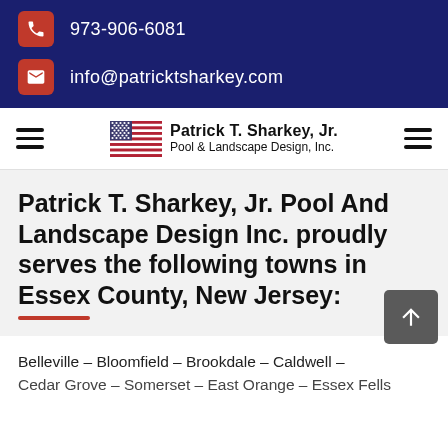973-906-6081
info@patricktsharkey.com
[Figure (logo): Patrick T. Sharkey, Jr. Pool & Landscape Design, Inc. logo with American flag]
Patrick T. Sharkey, Jr. Pool And Landscape Design Inc. proudly serves the following towns in Essex County, New Jersey:
Belleville – Bloomfield – Brookdale – Caldwell –
Cedar Grove – Somerset – East Orange – Essex Fells